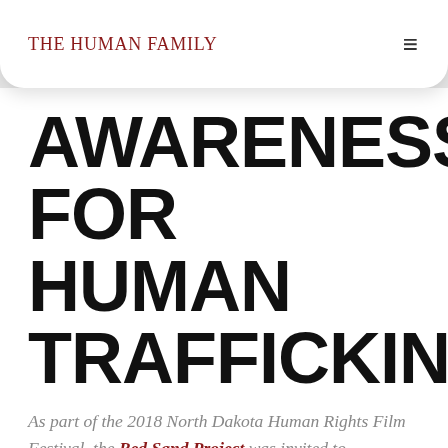The Human Family
AWARENESS FOR HUMAN TRAFFICKING
As part of the 2018 North Dakota Human Rights Film Festival, the Red Sand Project was invited to participate as part of the Missing and Indigienous Women and Girls